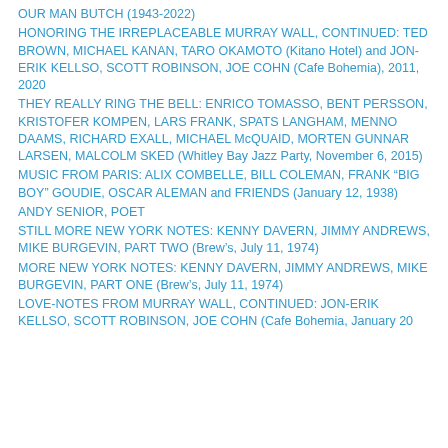OUR MAN BUTCH (1943-2022)
HONORING THE IRREPLACEABLE MURRAY WALL, CONTINUED: TED BROWN, MICHAEL KANAN, TARO OKAMOTO (Kitano Hotel) and JON-ERIK KELLSO, SCOTT ROBINSON, JOE COHN (Cafe Bohemia), 2011, 2020
THEY REALLY RING THE BELL: ENRICO TOMASSO, BENT PERSSON, KRISTOFER KOMPEN, LARS FRANK, SPATS LANGHAM, MENNO DAAMS, RICHARD EXALL, MICHAEL McQUAID, MORTEN GUNNAR LARSEN, MALCOLM SKED (Whitley Bay Jazz Party, November 6, 2015)
MUSIC FROM PARIS: ALIX COMBELLE, BILL COLEMAN, FRANK “BIG BOY” GOUDIE, OSCAR ALEMAN and FRIENDS (January 12, 1938)
ANDY SENIOR, POET
STILL MORE NEW YORK NOTES: KENNY DAVERN, JIMMY ANDREWS, MIKE BURGEVIN, PART TWO (Brew’s, July 11, 1974)
MORE NEW YORK NOTES: KENNY DAVERN, JIMMY ANDREWS, MIKE BURGEVIN, PART ONE (Brew’s, July 11, 1974)
LOVE-NOTES FROM MURRAY WALL, CONTINUED: JON-ERIK KELLSO, SCOTT ROBINSON, JOE COHN (Cafe Bohemia, January 20...